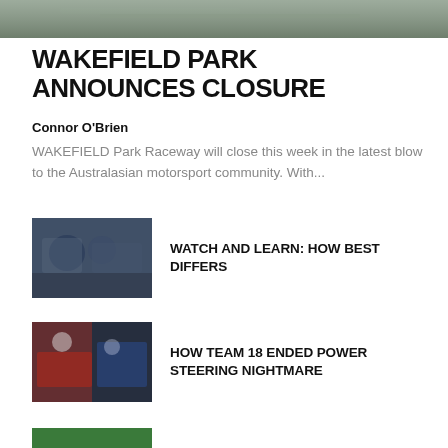[Figure (photo): Hero image of a racing track or car at the top of the page]
WAKEFIELD PARK ANNOUNCES CLOSURE
Connor O'Brien
WAKEFIELD Park Raceway will close this week in the latest blow to the Australasian motorsport community. With...
[Figure (photo): Thumbnail photo of people at a racing event - Watch and Learn: How Best Differs]
WATCH AND LEARN: HOW BEST DIFFERS
[Figure (photo): Thumbnail photo of racing drivers or team members - How Team 18 Ended Power Steering Nightmare]
HOW TEAM 18 ENDED POWER STEERING NIGHTMARE
[Figure (photo): Thumbnail photo of a red and white V8 Supercar - The Overlooked Brad Jones Racing V8 Supercar Race Winner]
THE OVERLOOKED BRAD JONES RACING V8 SUPERCAR RACE WINNER
[Figure (photo): Thumbnail photo partially visible - Faulkner Reacts to Erebus Supercar]
FAULKNER REACTS TO EREBUS SUPERCAR